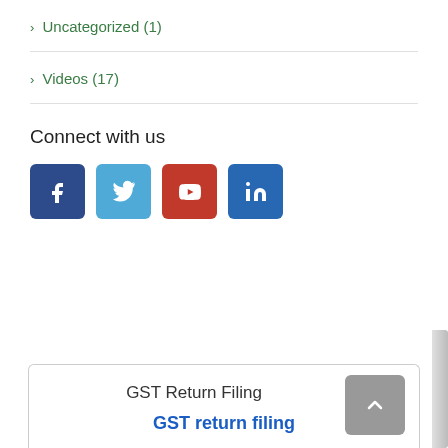> Uncategorized (1)
> Videos (17)
Connect with us
[Figure (infographic): Four social media icons in colored rounded square buttons: Facebook (dark blue, f), Twitter (light blue, bird), YouTube (red, play button), LinkedIn (blue, in)]
GST Return Filing
GST return filing